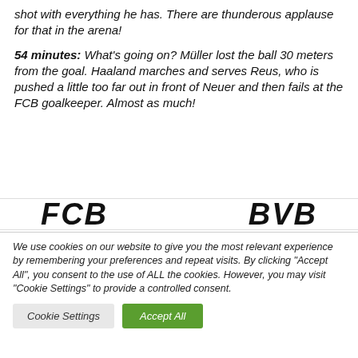shot with everything he has. There are thunderous applause for that in the arena!
54 minutes: What's going on? Müller lost the ball 30 meters from the goal. Haaland marches and serves Reus, who is pushed a little too far out in front of Neuer and then fails at the FCB goalkeeper. Almost as much!
FCB ... BVB (partial scorebar visible)
We use cookies on our website to give you the most relevant experience by remembering your preferences and repeat visits. By clicking "Accept All", you consent to the use of ALL the cookies. However, you may visit "Cookie Settings" to provide a controlled consent.